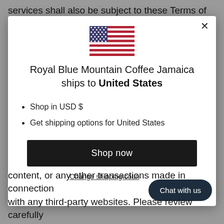services shall also be subject to these Terms of
[Figure (screenshot): Modal dialog with US flag, shipping destination message, bullet list, Shop now button, and Change shipping country link]
content, or any other transactions made in connection with any third-party websites. Please review carefully